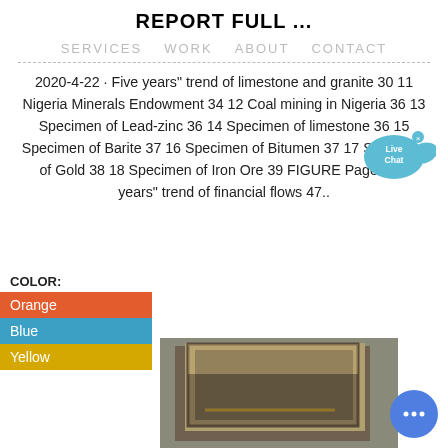REPORT FULL ...
SERVICES   WORK   ABOUT   CONTACT
2020-4-22 · Five years" trend of limestone and granite 30 11 Nigeria Minerals Endowment 34 12 Coal mining in Nigeria 36 13 Specimen of Lead-zinc 36 14 Specimen of limestone 36 15 Specimen of Barite 37 16 Specimen of Bitumen 37 17 Specimen of Gold 38 18 Specimen of Iron Ore 39 FIGURE Page Five years" trend of financial flows 47..
[Figure (infographic): Live Chat bubble icon with blue speech bubble and fish tail, with X close button]
COLOR:
Orange
Blue
Yellow
[Figure (photo): Photo of a metal ore/mineral specimen box or container viewed from above at an angle, showing metallic grey surfaces with yellowish mineral streak]
[Figure (infographic): Blue circular chat button with three dots]